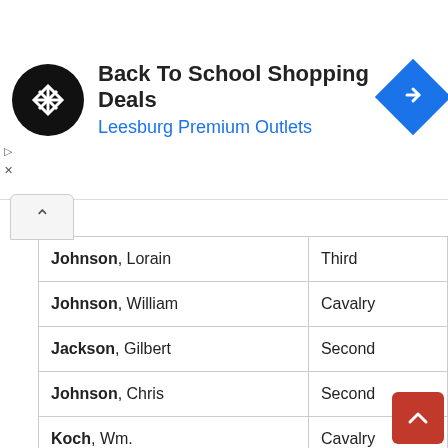[Figure (screenshot): Advertisement banner: Back To School Shopping Deals at Leesburg Premium Outlets with logo and map icon]
| Name | Unit |
| --- | --- |
| Johnson, Lorain | Third |
| Johnson, William | Cavalry |
| Jackson, Gilbert | Second |
| Johnson, Chris | Second |
| Koch, Wm. | Cavalry |
| Koch, Maximilian | Cavalry |
| Koch, Louis | Heavy Arti… |